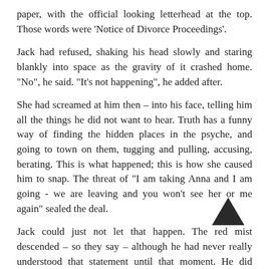paper, with the official looking letterhead at the top. Those words were ‘Notice of Divorce Proceedings’.
Jack had refused, shaking his head slowly and staring blankly into space as the gravity of it crashed home. “No”, he said. “It’s not happening”, he added after.
She had screamed at him then – into his face, telling him all the things he did not want to hear. Truth has a funny way of finding the hidden places in the psyche, and going to town on them, tugging and pulling, accusing, berating. This is what happened; this is how she caused him to snap. The threat of “I am taking Anna and I am going - we are leaving and you won’t see her or me again” sealed the deal.
Jack could just not let that happen. The red mist descended – so they say – although he had never really understood that statement until that moment. He did actually see red, and something inside of him snapped.
The rain continued to fall outside, heavier now and more persistent. Suddenly, he needed to be out in the cool evening air, breathing in the crispness – the beauty of it. The rain was bitterly cold on his exposed skin – his jacket still hung on the peg inside